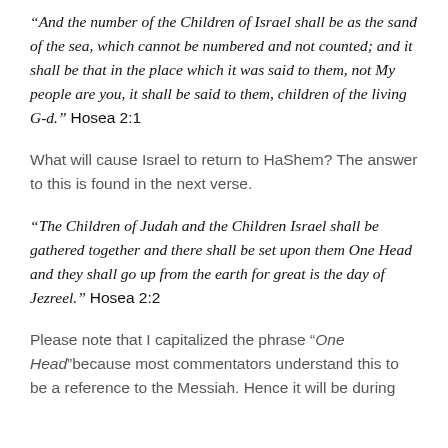“And the number of the Children of Israel shall be as the sand of the sea, which cannot be numbered and not counted; and it shall be that in the place which it was said to them, not My people are you, it shall be said to them, children of the living G-d.” Hosea 2:1
What will cause Israel to return to HaShem? The answer to this is found in the next verse.
“The Children of Judah and the Children Israel shall be gathered together and there shall be set upon them One Head and they shall go up from the earth for great is the day of Jezreel.” Hosea 2:2
Please note that I capitalized the phrase “One Head”because most commentators understand this to be a reference to the Messiah. Hence it will be during